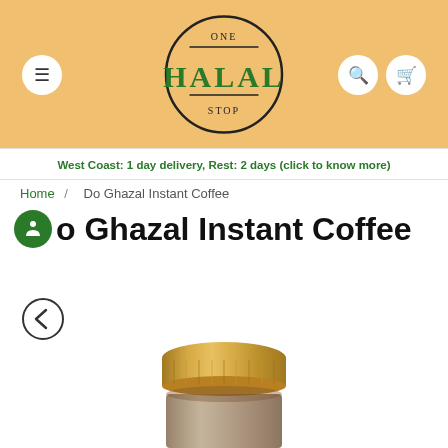[Figure (logo): One Halal Stop circular logo with green text on sandy/golden header background]
West Coast: 1 day delivery, Rest: 2 days (click to know more)
Home / Do Ghazal Instant Coffee
Do Ghazal Instant Coffee
[Figure (photo): Top of a glass jar with a gold/metallic screw cap lid containing Do Ghazal Instant Coffee]